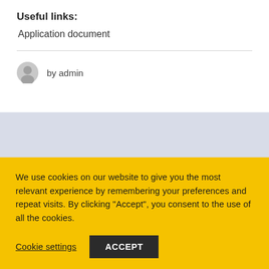Useful links:
Application document
by admin
We use cookies on our website to give you the most relevant experience by remembering your preferences and repeat visits. By clicking "Accept", you consent to the use of all the cookies.
Cookie settings
ACCEPT